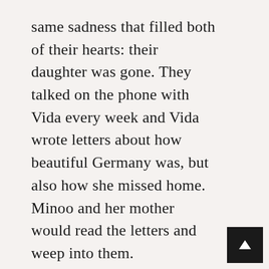same sadness that filled both of their hearts: their daughter was gone. They talked on the phone with Vida every week and Vida wrote letters about how beautiful Germany was, but also how she missed home. Minoo and her mother would read the letters and weep into them.
“I hate you,” Minoo told her mother one day as they sat in the courtyard eating watermelon slices.
“I hate you equally,” her